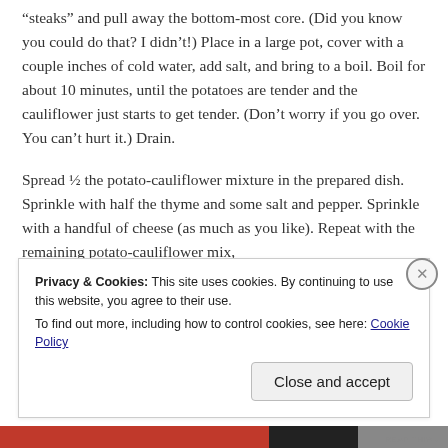“steaks” and pull away the bottom-most core. (Did you know you could do that? I didn’t!) Place in a large pot, cover with a couple inches of cold water, add salt, and bring to a boil. Boil for about 10 minutes, until the potatoes are tender and the cauliflower just starts to get tender. (Don’t worry if you go over. You can’t hurt it.) Drain.
Spread ½ the potato-cauliflower mixture in the prepared dish. Sprinkle with half the thyme and some salt and pepper. Sprinkle with a handful of cheese (as much as you like). Repeat with the remaining potato-cauliflower mix,
Privacy & Cookies: This site uses cookies. By continuing to use this website, you agree to their use.
To find out more, including how to control cookies, see here: Cookie Policy